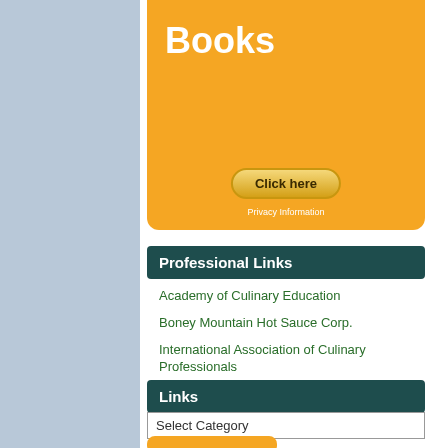[Figure (illustration): Orange advertisement banner for books with 'Books' text, a 'Click here' button, and 'Privacy Information' text below.]
Professional Links
Academy of Culinary Education
Boney Mountain Hot Sauce Corp.
International Association of Culinary Professionals
Raymond Alvarez – Executive Chef Pink Taco
Thumbtack
Links
Select Category